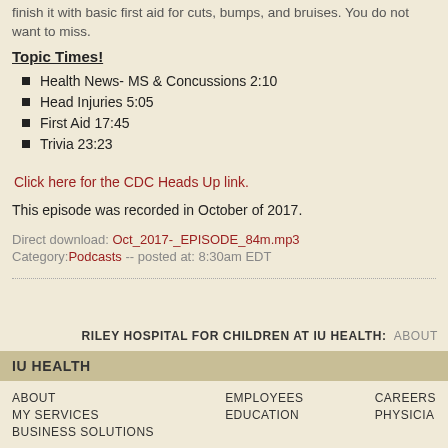finish it with basic first aid for cuts, bumps, and bruises. You do not want to miss.
Topic Times!
Health News- MS & Concussions 2:10
Head Injuries 5:05
First Aid 17:45
Trivia 23:23
Click here for the CDC Heads Up link.
This episode was recorded in October of 2017.
Direct download: Oct_2017-_EPISODE_84m.mp3
Category:Podcasts -- posted at: 8:30am EDT
RILEY HOSPITAL FOR CHILDREN AT IU HEALTH: ABOUT
IU HEALTH
ABOUT MY SERVICES BUSINESS SOLUTIONS EMPLOYEES EDUCATION CAREERS PHYSICIAN
©2011